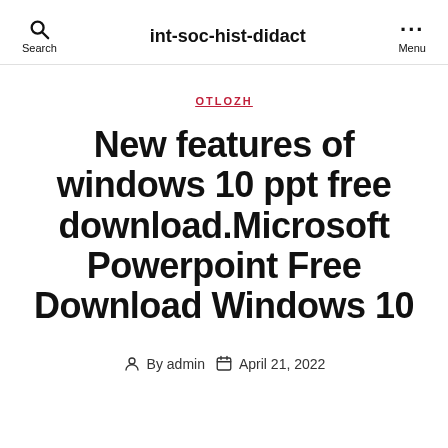int-soc-hist-didact
OTLOZH
New features of windows 10 ppt free download.Microsoft Powerpoint Free Download Windows 10
By admin  April 21, 2022